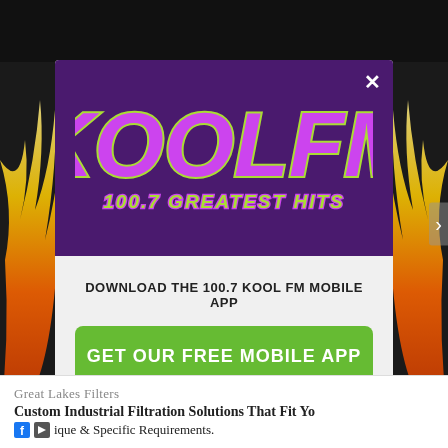[Figure (logo): KOOL FM 100.7 Greatest Hits radio station logo — large purple italic bold text on dark purple background with green outline]
DOWNLOAD THE 100.7 KOOL FM MOBILE APP
GET OUR FREE MOBILE APP
Also listen on:  amazon alexa
Great Lakes Filters
Custom Industrial Filtration Solutions That Fit Yo
ique & Specific Requirements.